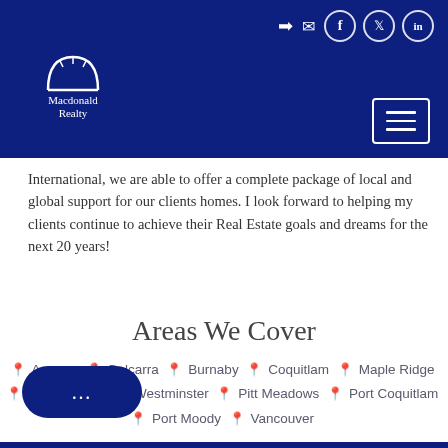Macdonald Realty — navigation header with logo and icons
International, we are able to offer a complete package of local and global support for our clients homes. I look forward to helping my clients continue to achieve their Real Estate goals and dreams for the next 20 years!
Areas We Cover
Anmore  Belcarra  Burnaby  Coquitlam  Maple Ridge  Mission  New Westminster  Pitt Meadows  Port Coquitlam  Port Moody  Vancouver